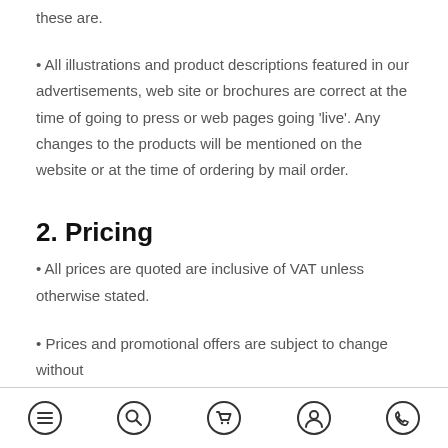these are.
• All illustrations and product descriptions featured in our advertisements, web site or brochures are correct at the time of going to press or web pages going 'live'. Any changes to the products will be mentioned on the website or at the time of ordering by mail order.
2. Pricing
• All prices are quoted are inclusive of VAT unless otherwise stated.
• Prices and promotional offers are subject to change without
navigation icons: menu, search, cart, account, phone